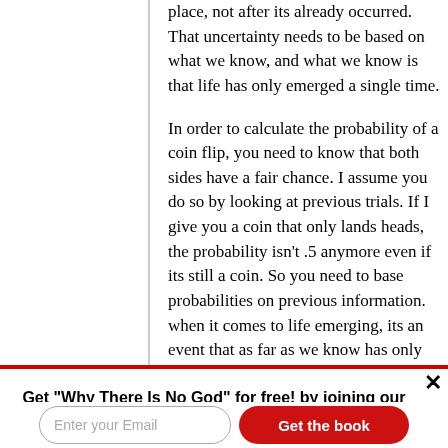place, not after its already occurred. That uncertainty needs to be based on what we know, and what we know is that life has only emerged a single time.
In order to calculate the probability of a coin flip, you need to know that both sides have a fair chance. I assume you do so by looking at previous trials. If I give you a coin that only lands heads, the probability isn't .5 anymore even if its still a coin. So you need to base probabilities on previous information. when it comes to life emerging, its an event that as far as we know has only happened once. If the universe is 13 billion years old, then we know life can only happen once every 13 billion years.
Get "Why There Is No God" for free! by joining our newsletter.